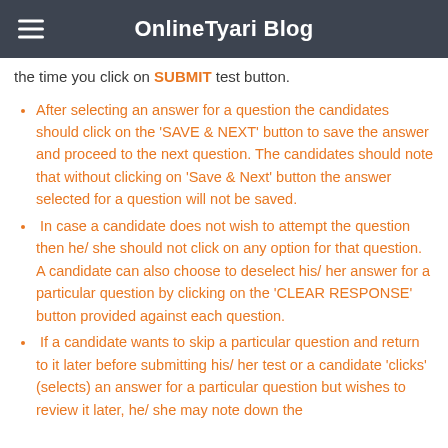OnlineTyari Blog
the time you click on SUBMIT test button.
After selecting an answer for a question the candidates should click on the 'SAVE & NEXT' button to save the answer and proceed to the next question. The candidates should note that without clicking on 'Save & Next' button the answer selected for a question will not be saved.
In case a candidate does not wish to attempt the question then he/ she should not click on any option for that question. A candidate can also choose to deselect his/ her answer for a particular question by clicking on the 'CLEAR RESPONSE' button provided against each question.
If a candidate wants to skip a particular question and return to it later before submitting his/ her test or a candidate 'clicks' (selects) an answer for a particular question but wishes to review it later, he/ she may note down the